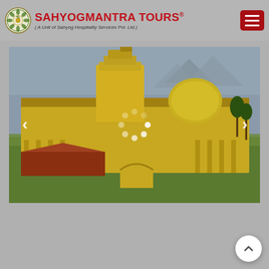[Figure (logo): Sahyogmantra Tours logo with circular green emblem on left and red brand name text on right, subtitle reads: ( A Unit of Sahyog Hospitality Services Pvt. Ltd.)]
[Figure (photo): Aerial/elevated view of a large golden South Indian Hindu temple complex surrounded by green lawns and palm trees, with mountains in the background. A loading spinner overlay is visible in the center of the image. Left and right navigation arrows for a slideshow are visible on the sides.]
[Figure (other): Scroll-to-top button (white circle with upward chevron arrow) in bottom-right corner]